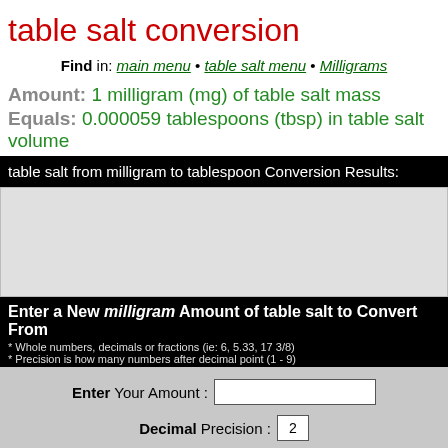table salt conversion
Find in: main menu • table salt menu • Milligrams
Amount: 1 milligram (mg) of table salt mass
Equals: 0.000059 tablespoons (tbsp) in table salt volume
table salt from milligram to tablespoon Conversion Results:
[Figure (other): Gray advertisement box placeholder]
Enter a New milligram Amount of table salt to Convert From
* Whole numbers, decimals or fractions (ie: 6, 5.33, 17 3/8)
* Precision is how many numbers after decimal point (1 - 9)
Enter Your Amount :
Decimal Precision : 2